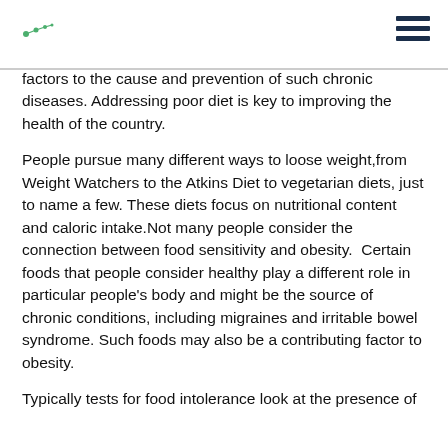navigation header with logo dots and hamburger menu
factors to the cause and prevention of such chronic diseases. Addressing poor diet is key to improving the health of the country.
People pursue many different ways to loose weight,from Weight Watchers to the Atkins Diet to vegetarian diets, just to name a few. These diets focus on nutritional content and caloric intake.Not many people consider the connection between food sensitivity and obesity.  Certain foods that people consider healthy play a different role in particular people's body and might be the source of chronic conditions, including migraines and irritable bowel syndrome. Such foods may also be a contributing factor to obesity.
Typically tests for food intolerance look at the presence of